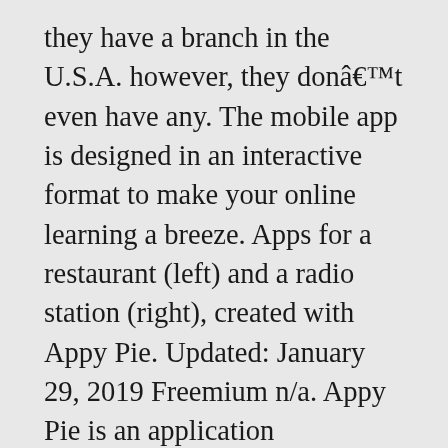they have a branch in the U.S.A. however, they donât even have any. The mobile app is designed in an interactive format to make your online learning a breeze. Apps for a restaurant (left) and a radio station (right), created with Appy Pie. Updated: January 29, 2019 Freemium n/a. Appy Pie is an application development platform that enables users to create mobile applications compatible with operating systems such as Android, iOS and Windows mobile OS. Compare Appy Pie alternatives for your business or organization using the curated list below. Compare features, ratings, user reviews, pricing, and more from Appy Pie competitors and alternatives in order to make an informed